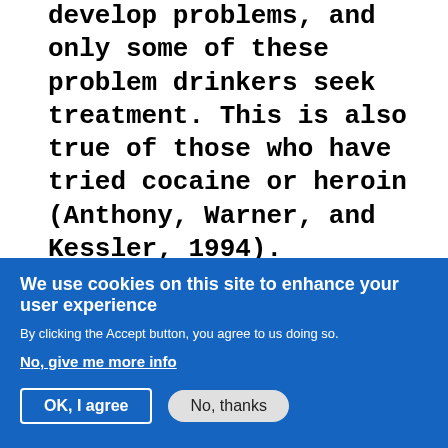develop problems, and only some of these problem drinkers seek treatment. This is also true of those who have tried cocaine or heroin (Anthony, Warner, and Kessler, 1994).
"That said, the experience of dependence on marijuana tends to be less severe than that observed with cocaine, opiates, and alcohol (Budney, 2006; Budney et al., 1998). On average, individuals with marijuana dependence meet fewer DSM dependence
We use cookies on this site to enhance your user experience
By clicking the Accept button, you agree to us doing so.
No, give me more info
OK, I agree
No, thanks